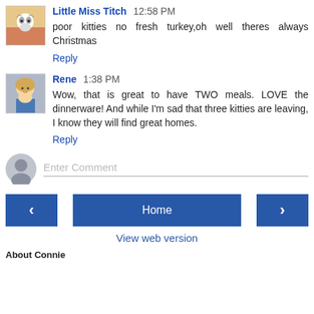[Figure (photo): Avatar image of Little Miss Titch - cat/colorful background]
Little Miss Titch 12:58 PM
poor kitties no fresh turkey,oh well theres always Christmas
Reply
[Figure (photo): Avatar image of Rene - woman with blonde hair, blue shirt]
Rene 1:38 PM
Wow, that is great to have TWO meals. LOVE the dinnerware! And while I'm sad that three kitties are leaving, I know they will find great homes.
Reply
[Figure (illustration): Generic user avatar icon - gray silhouette]
Enter Comment
‹
Home
›
View web version
About Connie